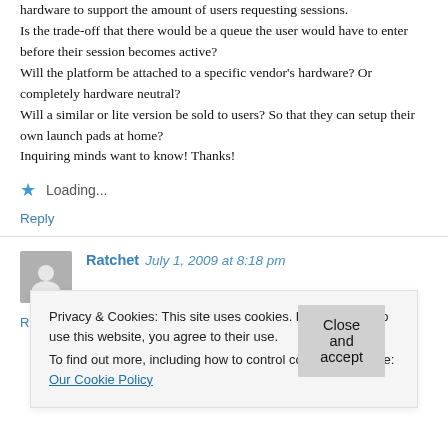hardware to support the amount of users requesting sessions.
Is the trade-off that there would be a queue the user would have to enter before their session becomes active?
Will the platform be attached to a specific vendor's hardware? Or completely hardware neutral?
Will a similar or lite version be sold to users? So that they can setup their own launch pads at home?
Inquiring minds want to know! Thanks!
Loading...
Reply
Ratchet July 1, 2009 at 8:18 pm
Privacy & Cookies: This site uses cookies. By continuing to use this website, you agree to their use.
To find out more, including how to control cookies, see here: Our Cookie Policy
Close and accept
Reply